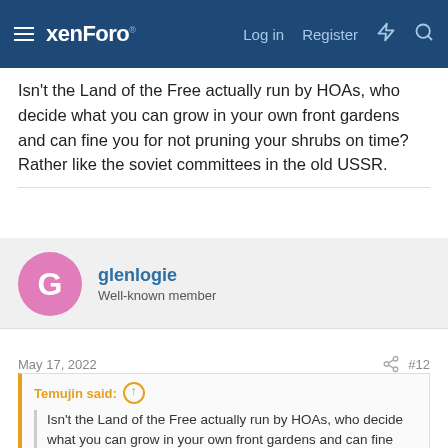xenForo  Log in  Register
Isn't the Land of the Free actually run by HOAs, who decide what you can grow in your own front gardens and can fine you for not pruning your shrubs on time? Rather like the soviet committees in the old USSR.
glenlogie
Well-known member
May 17, 2022  #12
Temujin said: ↑
Isn't the Land of the Free actually run by HOAs, who decide what you can grow in your own front gardens and can fine you for not pruning your shrubs on time? Rather like the soviet committees in the old USSR.
HOAs are not everywhere. But if someone buys a house in such a community, the HOA is part of the contract. Personally I would